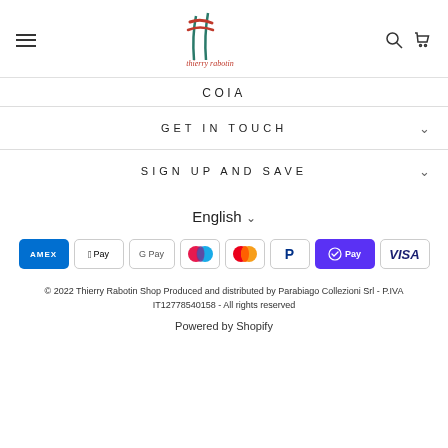[Figure (logo): Thierry Rabotin brand logo with teal/red graphic and text]
COIA
GET IN TOUCH
SIGN UP AND SAVE
English
[Figure (other): Payment method logos: AMEX, Apple Pay, Google Pay, Maestro, Mastercard, PayPal, Shop Pay, Visa]
© 2022 Thierry Rabotin Shop Produced and distributed by Parabiago Collezioni Srl - P.IVA IT12778540158 - All rights reserved
Powered by Shopify